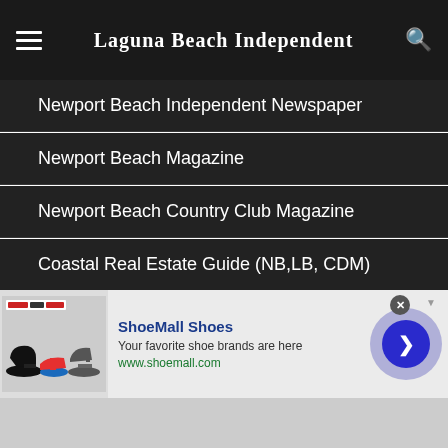Laguna Beach Independent
Newport Beach Independent Newspaper
Newport Beach Magazine
Newport Beach Country Club Magazine
Coastal Real Estate Guide (NB,LB, CDM)
Luxury Hospitality Publications
Montage Magazine
[Figure (screenshot): ShoeMall Shoes advertisement banner showing shoe images, brand name, tagline 'Your favorite shoe brands are here', URL www.shoemall.com, and a circular arrow button]